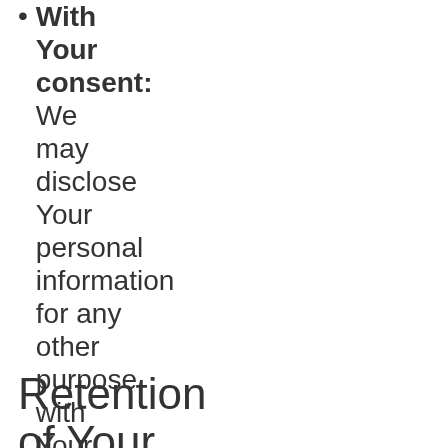With Your consent: We may disclose Your personal information for any other purpose with Your consent.
Retention of Your Personal Data